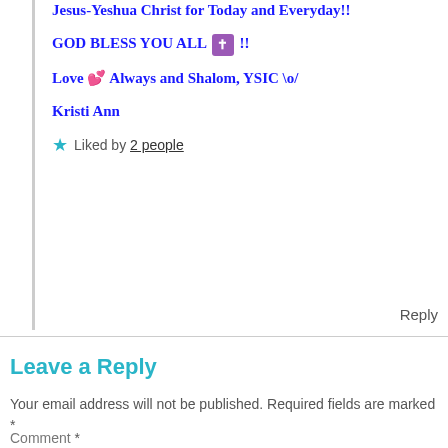Jesus-Yeshua Christ for Today and Everyday!!
GOD BLESS YOU ALL ✝ !!
Love 💕 Always and Shalom, YSIC \o/
Kristi Ann
★ Liked by 2 people
Reply
Leave a Reply
Your email address will not be published. Required fields are marked *
Comment *